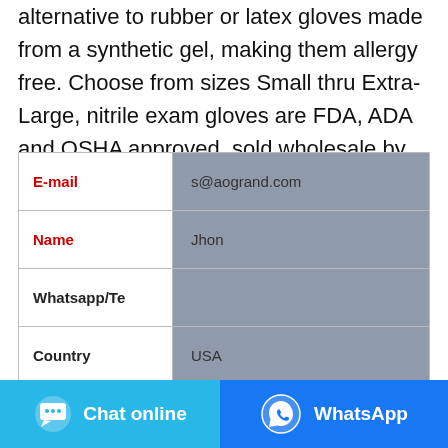alternative to rubber or latex gloves made from a synthetic gel, making them allergy free. Choose from sizes Small thru Extra-Large, nitrile exam gloves are FDA, ADA and OSHA approved, sold wholesale by the case.
| Field | Value |
| --- | --- |
| E-mail | s@aogrand.com |
| Name | Jhon |
| Whatsapp/Te |  |
| Country | USA |
|  |  |
Chat online
WhatsApp